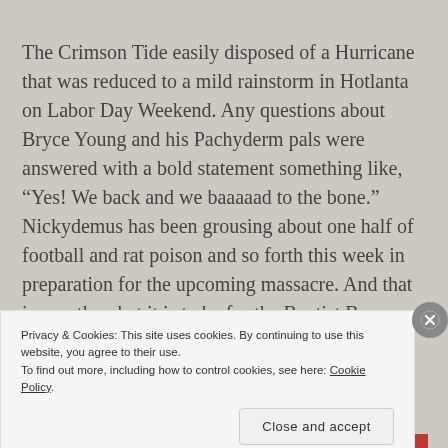The Crimson Tide easily disposed of a Hurricane that was reduced to a mild rainstorm in Hotlanta on Labor Day Weekend. Any questions about Bryce Young and his Pachyderm pals were answered with a bold statement something like, “Yes! We back and we baaaaad to the bone.” Nickydemus has been grousing about one half of football and rat poison and so forth this week in preparation for the upcoming massacre. And that is exactly what it is to be for the Baptist Bears.
Privacy & Cookies: This site uses cookies. By continuing to use this website, you agree to their use.
To find out more, including how to control cookies, see here: Cookie Policy